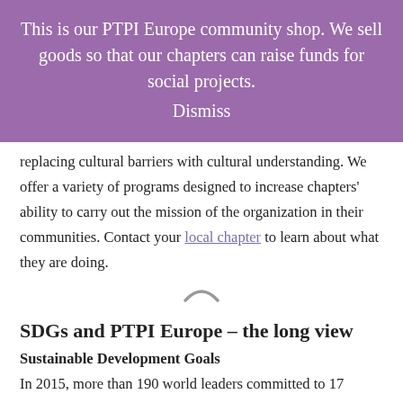This is our PTPI Europe community shop. We sell goods so that our chapters can raise funds for social projects. Dismiss
replacing cultural barriers with cultural understanding. We offer a variety of programs designed to increase chapters’ ability to carry out the mission of the organization in their communities. Contact your local chapter to learn about what they are doing.
SDGs and PTPI Europe – the long view
Sustainable Development Goals
In 2015, more than 190 world leaders committed to 17 Sustainable Development Goals (SDGs) to help us all end extreme poverty, fight inequality & injustice, and fix climate change. We each have a role to play if we’re going to achieve these goals of a more prosperous, equitable, and sustainable world.